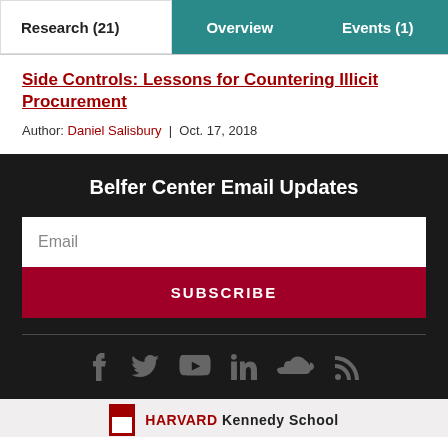Research (21) | Overview | Events (1)
Side Controls: Lessons for Countering Illicit Procurement
Author: Daniel Salisbury | Oct. 17, 2018
Belfer Center Email Updates
Email
SUBSCRIBE
[Figure (infographic): Social media icons: Facebook, Twitter, YouTube, LinkedIn, SoundCloud, RSS]
HARVARD Kennedy School